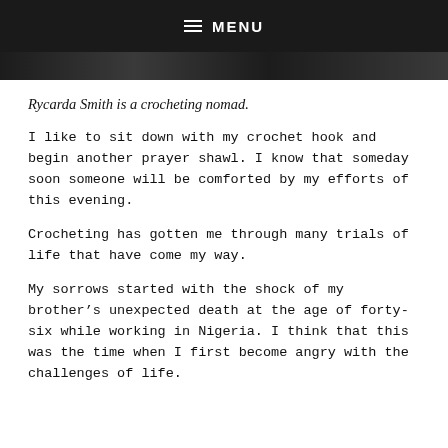MENU
[Figure (photo): Partial black and white photo strip visible at bottom of header area]
Rycarda Smith is a crocheting nomad.
I like to sit down with my crochet hook and begin another prayer shawl. I know that someday soon someone will be comforted by my efforts of this evening.
Crocheting has gotten me through many trials of life that have come my way.
My sorrows started with the shock of my brother’s unexpected death at the age of forty-six while working in Nigeria. I think that this was the time when I first become angry with the challenges of life.